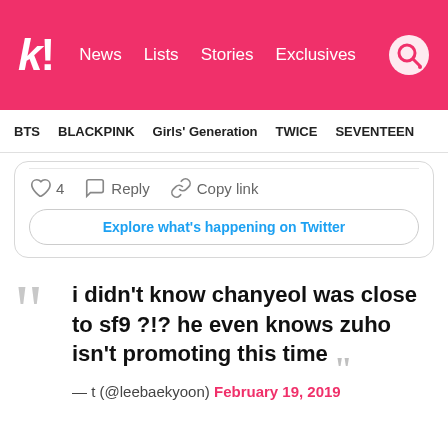K! News  Lists  Stories  Exclusives
BTS  BLACKPINK  Girls' Generation  TWICE  SEVENTEEN
4  Reply  Copy link
Explore what's happening on Twitter
i didn't know chanyeol was close to sf9 ?!? he even knows zuho isn't promoting this time
— t (@leebaekyoon) February 19, 2019